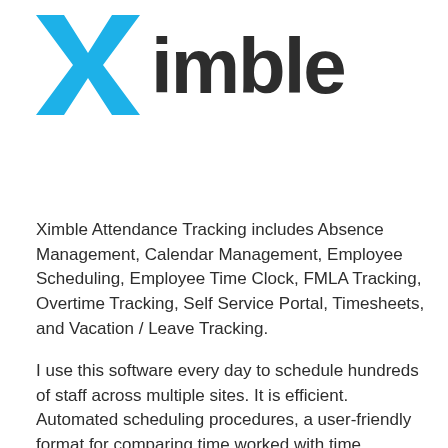[Figure (logo): Ximble logo: stylized 'x' in blue followed by 'imble' in dark charcoal/black bold text]
Ximble Attendance Tracking includes Absence Management, Calendar Management, Employee Scheduling, Employee Time Clock, FMLA Tracking, Overtime Tracking, Self Service Portal, Timesheets, and Vacation / Leave Tracking.
I use this software every day to schedule hundreds of staff across multiple sites. It is efficient. Automated scheduling procedures, a user-friendly format for comparing time worked with time scheduled, company-